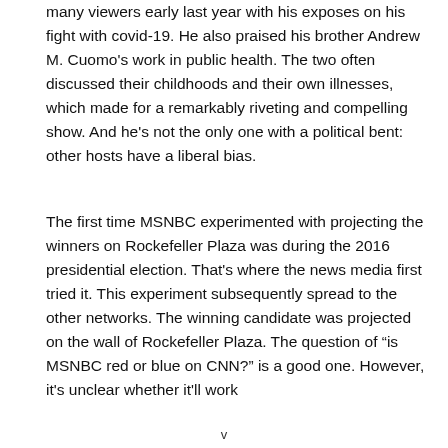many viewers early last year with his exposes on his fight with covid-19. He also praised his brother Andrew M. Cuomo's work in public health. The two often discussed their childhoods and their own illnesses, which made for a remarkably riveting and compelling show. And he's not the only one with a political bent: other hosts have a liberal bias.
The first time MSNBC experimented with projecting the winners on Rockefeller Plaza was during the 2016 presidential election. That's where the news media first tried it. This experiment subsequently spread to the other networks. The winning candidate was projected on the wall of Rockefeller Plaza. The question of “is MSNBC red or blue on CNN?” is a good one. However, it's unclear whether it'll work
v